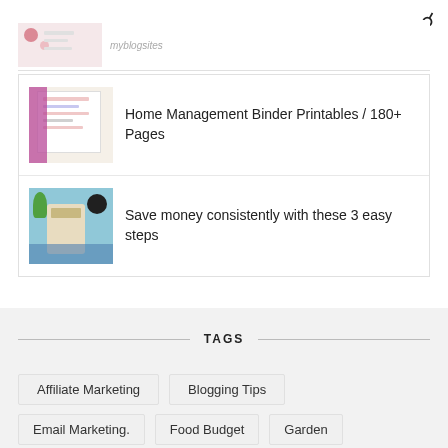[Figure (screenshot): Search icon (magnifying glass) in top right corner]
[Figure (photo): Partial thumbnail of a blog post image, cropped at top]
Home Management Binder Printables / 180+ Pages
Save money consistently with these 3 easy steps
TAGS
Affiliate Marketing
Blogging Tips
Email Marketing.
Food Budget
Garden